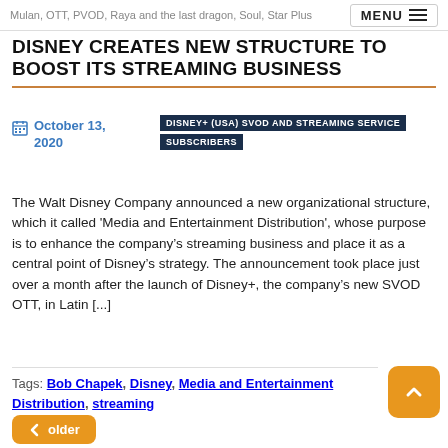Mulan, OTT, PVOD, Raya and the last dragon, Soul, Star Plus
DISNEY CREATES NEW STRUCTURE TO BOOST ITS STREAMING BUSINESS
October 13, 2020
DISNEY+ (USA) SVOD AND STREAMING SERVICE  SUBSCRIBERS
The Walt Disney Company announced a new organizational structure, which it called 'Media and Entertainment Distribution', whose purpose is to enhance the company&#8217;s streaming business and place it as a central point of Disney&#8217;s strategy. The announcement took place just over a month after the launch of Disney+, the company&#8217;s new SVOD OTT, in Latin [...]
Tags: Bob Chapek, Disney, Media and Entertainment Distribution, streaming